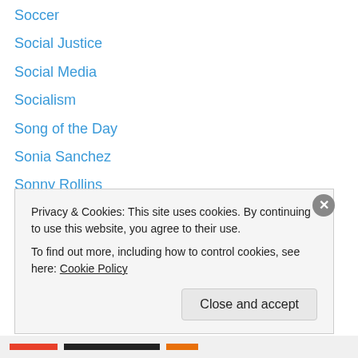Soccer
Social Justice
Social Media
Socialism
Song of the Day
Sonia Sanchez
Sonny Rollins
Spain
Sports
Stevie Wonder
Technology
Television
The Beatles
Privacy & Cookies: This site uses cookies. By continuing to use this website, you agree to their use. To find out more, including how to control cookies, see here: Cookie Policy